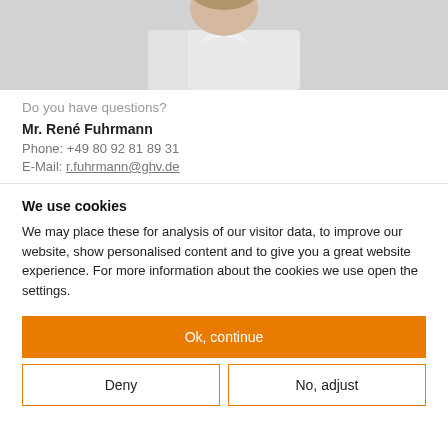[Figure (photo): Headshot photo of a man in a white shirt against a light grey background, cropped at chest level]
Do you have questions?
Mr. René Fuhrmann
Phone: +49 80 92 81 89 31
E-Mail: r.fuhrmann@ghv.de
We use cookies
We may place these for analysis of our visitor data, to improve our website, show personalised content and to give you a great website experience. For more information about the cookies we use open the settings.
Ok, continue
Deny
No, adjust